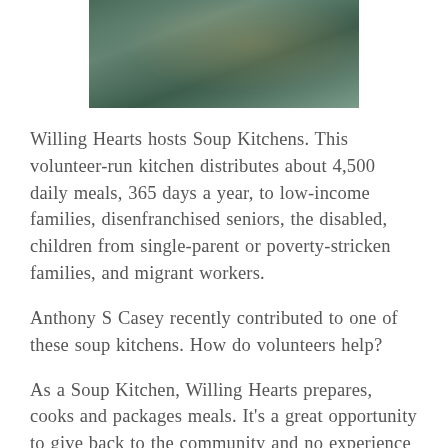[Figure (photo): A photo of volunteers at a soup kitchen, people visible with bags and food items in a kitchen/distribution setting.]
Willing Hearts hosts Soup Kitchens. This volunteer-run kitchen distributes about 4,500 daily meals, 365 days a year, to low-income families, disenfranchised seniors, the disabled, children from single-parent or poverty-stricken families, and migrant workers.
Anthony S Casey recently contributed to one of these soup kitchens. How do volunteers help?
As a Soup Kitchen, Willing Hearts prepares, cooks and packages meals. It's a great opportunity to give back to the community and no experience is necessary; guidance is provided by more